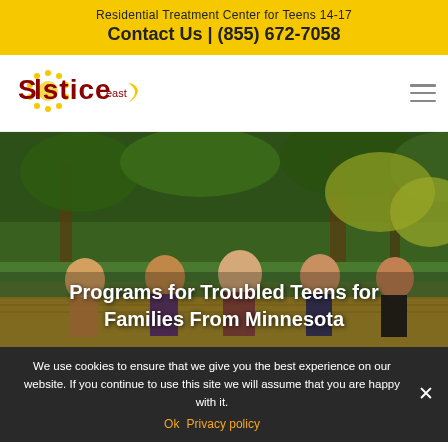Residential Treatment Center for Teens 14-17
Contact Us | (855) 672-7058
[Figure (logo): Solstice East logo with sun graphic and crescent moon]
[Figure (photo): Five teenage girls sitting outdoors on a wooden platform with trees and greenery in the background]
Programs for Troubled Teens for Families From Minnesota
We use cookies to ensure that we give you the best experience on our website. If you continue to use this site we will assume that you are happy with it.
Ok   Privacy policy
What to Expect From One of